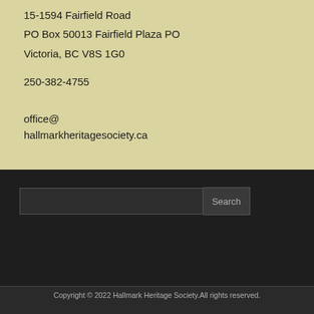15-1594 Fairfield Road
PO Box 50013 Fairfield Plaza PO
Victoria, BC V8S 1G0
250-382-4755
office@
hallmarkheritagesociety.ca
Copyright © 2022 Hallmark Heritage Society.All rights reserved.